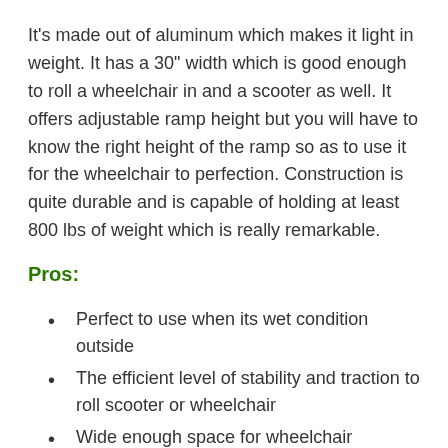It's made out of aluminum which makes it light in weight. It has a 30" width which is good enough to roll a wheelchair in and a scooter as well. It offers adjustable ramp height but you will have to know the right height of the ramp so as to use it for the wheelchair to perfection. Construction is quite durable and is capable of holding at least 800 lbs of weight which is really remarkable.
Pros:
Perfect to use when its wet condition outside
The efficient level of stability and traction to roll scooter or wheelchair
Wide enough space for wheelchair
Setting up is really easy